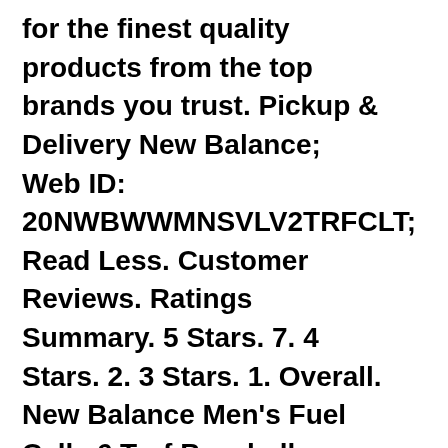for the finest quality products from the top brands you trust. Pickup & Delivery New Balance; Web ID: 20NWBWWMNSVLV2TRFCLT; Read Less. Customer Reviews. Ratings Summary. 5 Stars. 7. 4 Stars. 2. 3 Stars. 1. Overall. New Balance Men's Fuel Cell v6 Turf Baseball Shoes out of 5 () Now $ 89 Compare Compare. The price of the product might be updated based on your selection New Balance Men's MROAVv2 Turf Shoes out of 5 (2) Orig. $